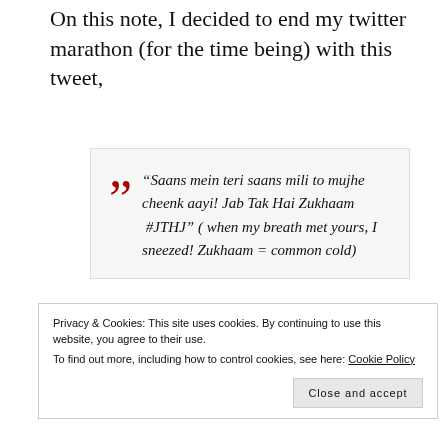On this note, I decided to end my twitter marathon (for the time being) with this tweet,
“Saans mein teri saans mili to mujhe cheenk aayi! Jab Tak Hai Zukhaam  #JTHJ” ( when my breath met yours, I sneezed! Zukhaam = common cold)
Privacy & Cookies: This site uses cookies. By continuing to use this website, you agree to their use.
To find out more, including how to control cookies, see here: Cookie Policy
Close and accept